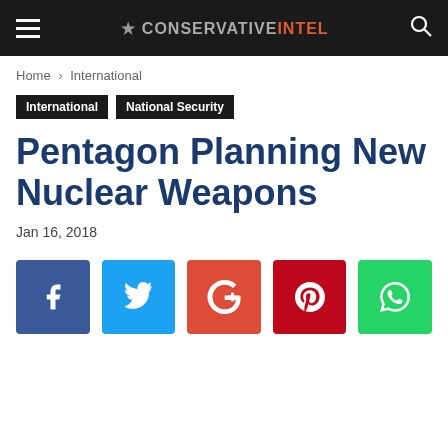CONSERVATIVE INTEL
Home › International
International  National Security
Pentagon Planning New Nuclear Weapons
Jan 16, 2018
[Figure (other): Social media sharing buttons: Facebook, Twitter, Google+, Pinterest, WhatsApp]